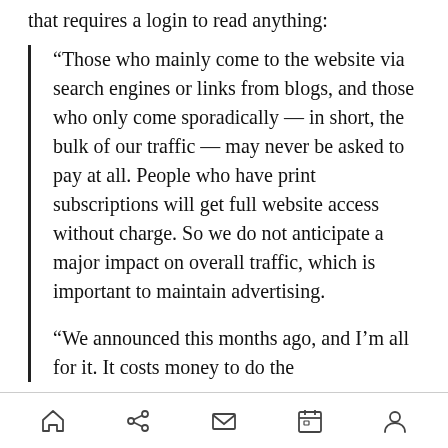that requires a login to read anything:
“Those who mainly come to the website via search engines or links from blogs, and those who only come sporadically — in short, the bulk of our traffic — may never be asked to pay at all. People who have print subscriptions will get full website access without charge. So we do not anticipate a major impact on overall traffic, which is important to maintain advertising.
“We announced this months ago, and I’m all for it. It costs money to do the
navigation icons: home, share, mail, calendar, profile